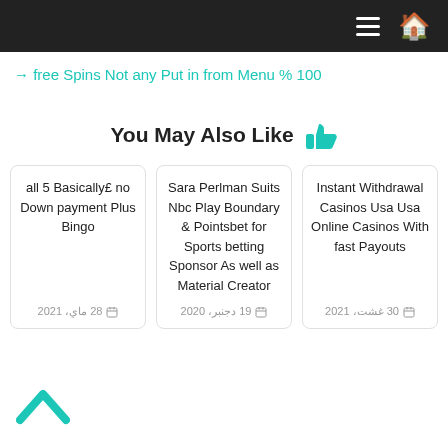≡ 🏠
→ free Spins Not any Put in from Menu % 100
You May Also Like 👍
all 5 Basically£ no Down payment Plus Bingo
📅 28 ماي، 2021
Sara Perlman Suits Nbc Play Boundary & Pointsbet for Sports betting Sponsor As well as Material Creator
📅 19 دجنبر، 2020
Instant Withdrawal Casinos Usa Usa Online Casinos With fast Payouts
📅 30 غشت، 2021